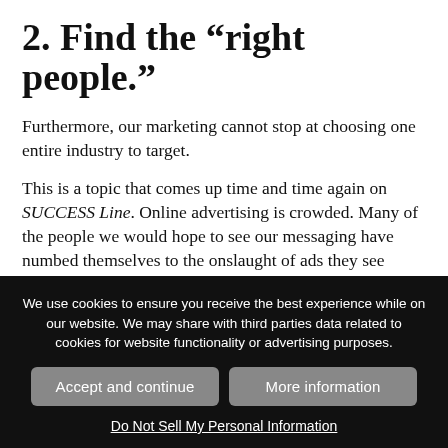2. Find the “right people.”
Furthermore, our marketing cannot stop at choosing one entire industry to target.
This is a topic that comes up time and time again on SUCCESS Line. Online advertising is crowded. Many of the people we would hope to see our messaging have numbed themselves to the onslaught of ads they see every day. So how do we get them to stop and consider our message amongst the masses?
We use cookies to ensure you receive the best experience while on our website. We may share with third parties data related to cookies for website functionality or advertising purposes.
Accept and continue
More information
Do Not Sell My Personal Information